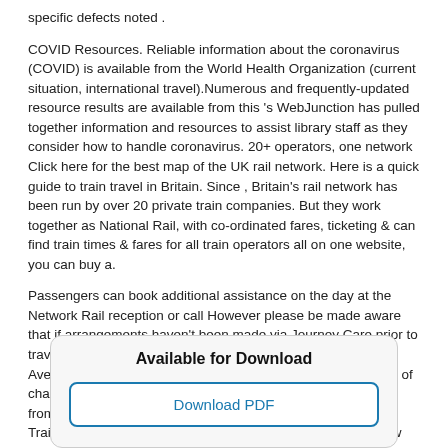specific defects noted .
COVID Resources. Reliable information about the coronavirus (COVID) is available from the World Health Organization (current situation, international travel).Numerous and frequently-updated resource results are available from this 's WebJunction has pulled together information and resources to assist library staff as they consider how to handle coronavirus. 20+ operators, one network Click here for the best map of the UK rail network. Here is a quick guide to train travel in Britain. Since , Britain's rail network has been run by over 20 private train companies. But they work together as National Rail, with co-ordinated fares, ticketing & can find train times & fares for all train operators all on one website, you can buy a.
Passengers can book additional assistance on the day at the Network Rail reception or call However please be made aware that if arrangements haven't been made via Journey Care prior to travel, there will be a wait but our policy is to make it happen. Average journey timefrom 5h 28m. First and last train Number of changes0 (direct) Trains per dayAround Average journey time from 5h 28m. First and last train Number of changes 0 (direct) Trains per day Around Today, Sun 16 Feb, at Birmingham New Street. Birmingham New Street. Platform 3 estimated.
Available for Download
Download PDF